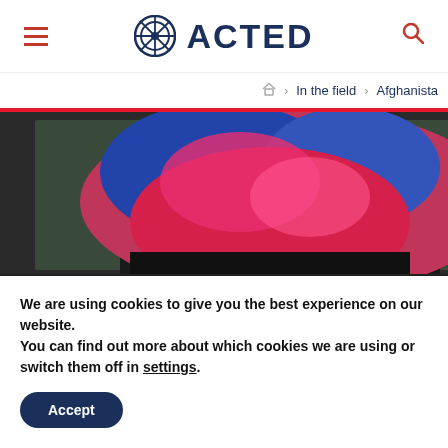ACTED
In the field > Afghanistan
[Figure (photo): Woman in colorful headscarf standing in front of a chalkboard with Arabic/Dari writing]
AFGHANISTAN
Accompanying Afghan
We are using cookies to give you the best experience on our website.
You can find out more about which cookies we are using or switch them off in settings.
Accept